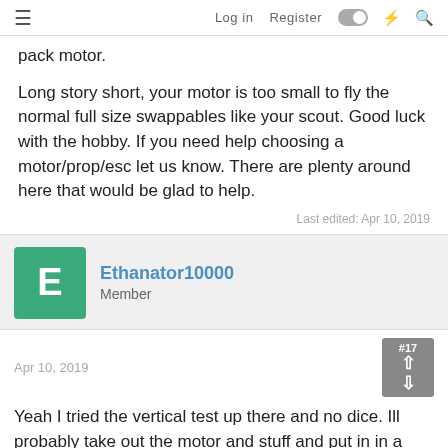≡  Log in  Register  🌙  ⚡  🔍
pack motor.
Long story short, your motor is too small to fly the normal full size swappables like your scout. Good luck with the hobby. If you need help choosing a motor/prop/esc let us know. There are plenty around here that would be glad to help.
Last edited: Apr 10, 2019
Ethanator10000
Member
Apr 10, 2019   #17
Yeah I tried the vertical test up there and no dice. Ill probably take out the motor and stuff and put in in a smaller plane. Any suggestions for a mini I should try?